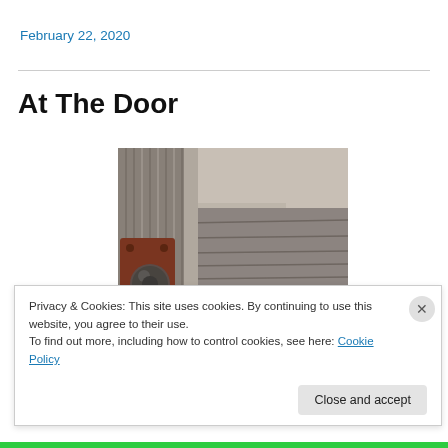February 22, 2020
At The Door
[Figure (photo): Close-up photograph of a vintage door with a rusty metal doorknob plate and weathered wooden planks in grayscale/sepia tones]
Privacy & Cookies: This site uses cookies. By continuing to use this website, you agree to their use.
To find out more, including how to control cookies, see here: Cookie Policy